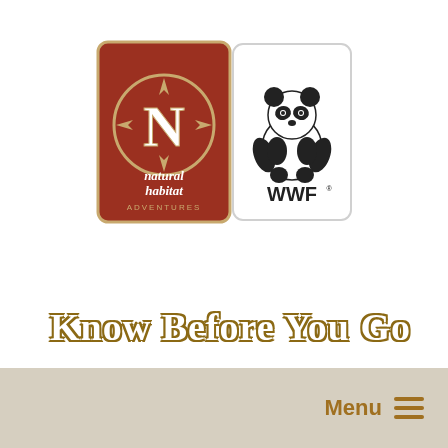[Figure (logo): Natural Habitat Adventures logo (red card with N emblem, text 'natural habitat ADVENTURES') next to WWF logo (panda bear with 'WWF' text)]
Know Before You Go
Menu